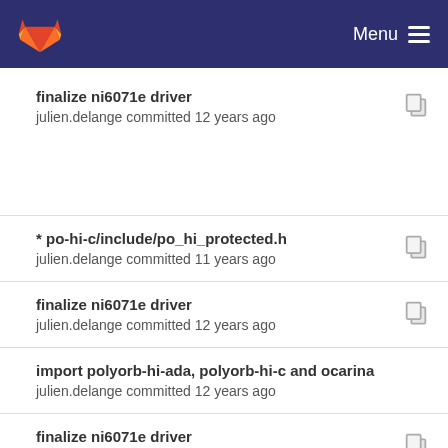Menu
finalize ni6071e driver
julien.delange committed 12 years ago
* po-hi-c/include/po_hi_protected.h
julien.delange committed 11 years ago
finalize ni6071e driver
julien.delange committed 12 years ago
import polyorb-hi-ada, polyorb-hi-c and ocarina
julien.delange committed 12 years ago
finalize ni6071e driver
julien.delange committed 12 years ago